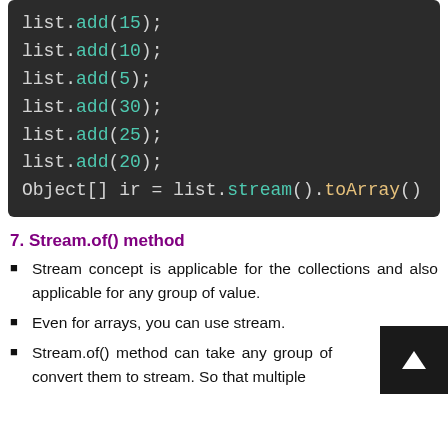[Figure (screenshot): Dark-themed code block showing Java list.add() and stream().toArray() calls]
7. Stream.of() method
Stream concept is applicable for the collections and also applicable for any group of value.
Even for arrays, you can use stream.
Stream.of() method can take any group of s and convert them to stream. So that multiple